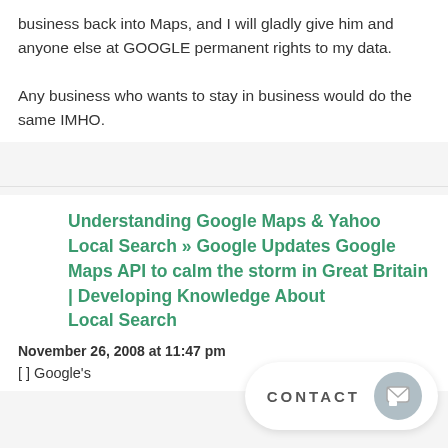business back into Maps, and I will gladly give him and anyone else at GOOGLE permanent rights to my data.
Any business who wants to stay in business would do the same IMHO.
Understanding Google Maps & Yahoo Local Search » Google Updates Google Maps API to calm the storm in Great Britain | Developing Knowledge About Local Search
November 26, 2008 at 11:47 pm
[ ] Google's